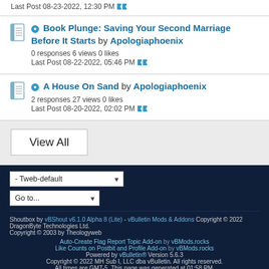Last Post 08-23-2022, 12:30 PM
Book Plunge: Saving Your Second Marriage Before It Starts by Apologiaphoenix
0 responses 6 views 0 likes
Last Post 08-22-2022, 05:46 PM
A House On Sand by Apologiaphoenix
2 responses 27 views 0 likes
Last Post 08-20-2022, 02:02 PM
View All
- Tweb-default
Go to...
Shoutbox by vBShout v6.1.0 Alpha 8 (Lite) - vBulletin Mods & Addons Copyright © 2022 DragonByte Technologies Ltd.
Copyright © 2003 by Theologyweb
Auto-Create Flag Report Topic Add-on by vBMods.rocks
Like Counts on Postbit and Profile Add-on by vBMods.rocks
Powered by vBulletin® Version 5.6.3
Copyright © 2022 MH Sub I, LLC dba vBulletin. All rights reserved.
All times are GMT-5. This page was generated at 01:58 PM.